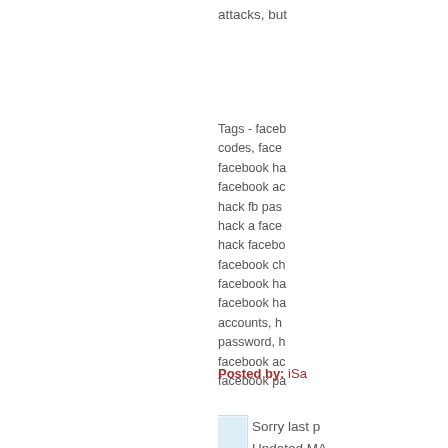attacks, but
Tags - facebook codes, facebook ha facebook ac hack fb pas hack a face hack facebo facebook ch facebook ha facebook ha accounts, h password, h facebook ac facebook pa
Posted by: iSa
[Figure (illustration): Small square avatar image with light blue network/map pattern on white background]
Sorry last p
Updated MA